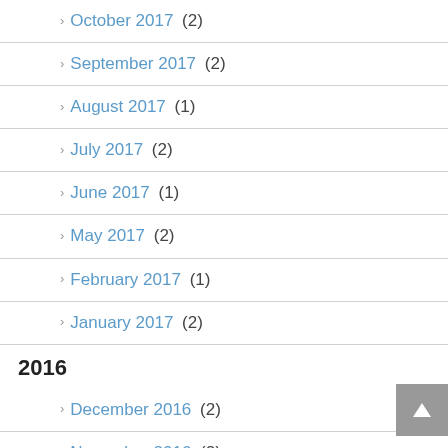October 2017 (2)
September 2017 (2)
August 2017 (1)
July 2017 (2)
June 2017 (1)
May 2017 (2)
February 2017 (1)
January 2017 (2)
2016
December 2016 (2)
November 2016 (2)